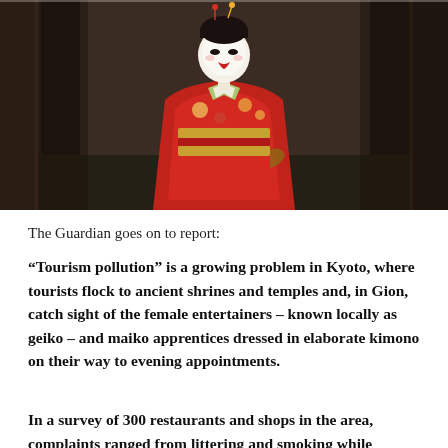[Figure (photo): A woman dressed as a maiko (geisha apprentice) in a vibrant red and floral kimono, with traditional white face makeup and red lips, standing in a narrow wooden corridor or gateway in Gion, Kyoto.]
The Guardian goes on to report:
“Tourism pollution” is a growing problem in Kyoto, where tourists flock to ancient shrines and temples and, in Gion, catch sight of the female entertainers – known locally as geiko – and maiko apprentices dressed in elaborate kimono on their way to evening appointments.
In a survey of 300 restaurants and shops in the area, complaints ranged from littering and smoking while